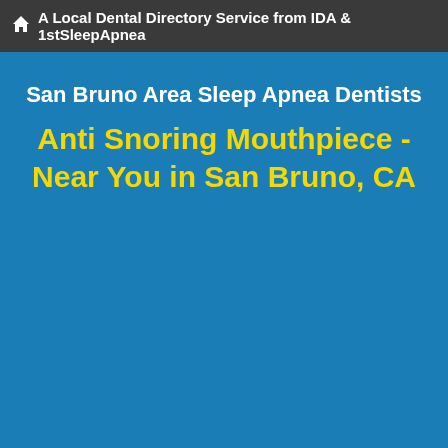A Local Dental Directory Service from IDA & 1stSleepApnea
San Bruno Area Sleep Apnea Dentists
Anti Snoring Mouthpiece - Near You in San Bruno, CA